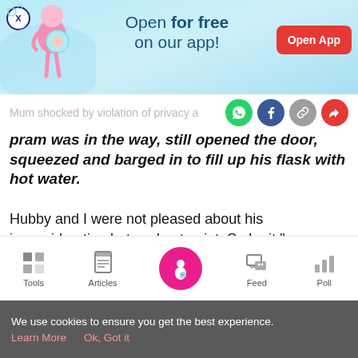[Figure (screenshot): App advertisement banner with light blue background, pregnancy illustration on left, text 'Open for free on our app!' in center, and red 'Open App' button on right. Close button (X) in top-left corner.]
Mum shocked by violation of privacy a
pram was in the way, still opened the door, squeezed and barged in to fill up his flask with hot water.
Hubby and I were not pleased about his inconsideration but we kept quiet. So be it."
[Figure (screenshot): Facebook post preview showing 'Elzbth Yip added 4 new photos — feeling angry. 13 hrs']
[Figure (screenshot): Mobile app bottom navigation bar with icons: Tools (grid), Articles (clipboard), Home (pink circle with pregnant woman icon), Feed (chat bubble), Poll (bar chart)]
We use cookies to ensure you get the best experience. Learn More   Ok, Got it